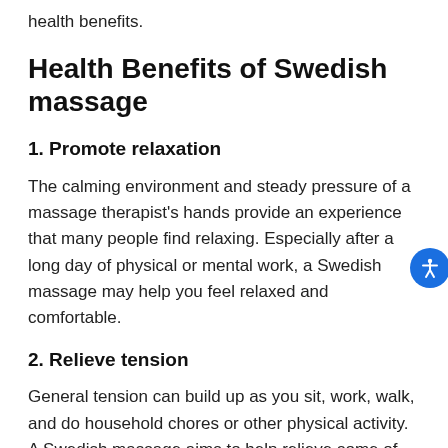health benefits.
Health Benefits of Swedish massage
1. Promote relaxation
The calming environment and steady pressure of a massage therapist's hands provide an experience that many people find relaxing. Especially after a long day of physical or mental work, a Swedish massage may help you feel relaxed and comfortable.
2. Relieve tension
General tension can build up as you sit, work, walk, and do household chores or other physical activity. A Swedish massage aims to help relieve some of this